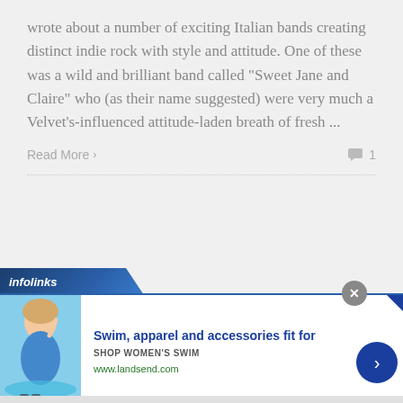wrote about a number of exciting Italian bands creating distinct indie rock with style and attitude. One of these was a wild and brilliant band called “Sweet Jane and Claire” who (as their name suggested) were very much a Velvet’s-influenced attitude-laden breath of fresh ...
Read More >                                                                        💬 1
[Figure (screenshot): Infolinks advertisement banner for Lands' End swim apparel. Shows infolinks logo bar at top, close button (x), ad content with woman in swimsuit image on left, headline 'Swim, apparel and accessories fit for', subline 'SHOP WOMEN'S SWIM', URL 'www.landsend.com', and a blue circular arrow button on right.]